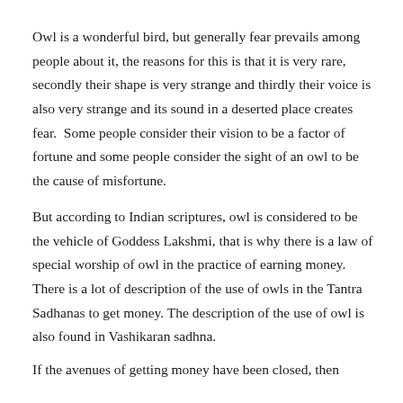Owl is a wonderful bird, but generally fear prevails among people about it, the reasons for this is that it is very rare, secondly their shape is very strange and thirdly their voice is also very strange and its sound in a deserted place creates fear.  Some people consider their vision to be a factor of fortune and some people consider the sight of an owl to be the cause of misfortune.
But according to Indian scriptures, owl is considered to be the vehicle of Goddess Lakshmi, that is why there is a law of special worship of owl in the practice of earning money. There is a lot of description of the use of owls in the Tantra Sadhanas to get money. The description of the use of owl is also found in Vashikaran sadhna.
If the avenues of getting money have been closed, then